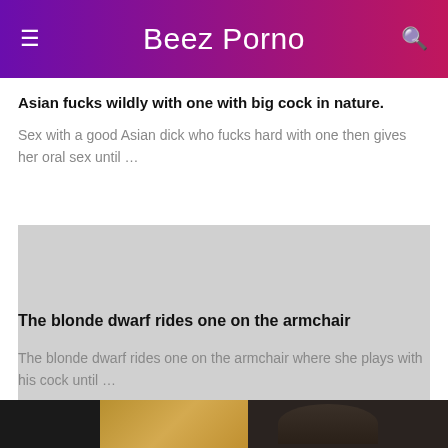Beez Porno
Asian fucks wildly with one with big cock in nature.
Sex with a good Asian dick who fucks hard with one then gives her oral sex until …
[Figure (photo): Video thumbnail placeholder with timestamp 27:01]
The blonde dwarf rides one on the armchair
The blonde dwarf rides one on the armchair where she plays with his cock until …
[Figure (photo): Partial video thumbnail at bottom of page showing dark left area, yellow/gold center, and person on right]